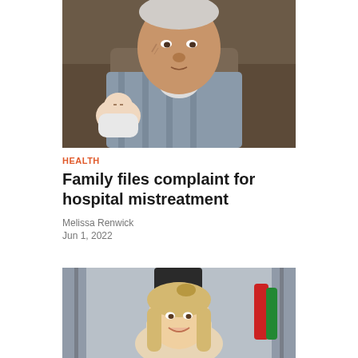[Figure (photo): Elderly man holding a newborn baby, seated on a couch]
HEALTH
Family files complaint for hospital mistreatment
Melissa Renwick
Jun 1, 2022
[Figure (photo): Young woman with blonde hair smiling, standing in front of exercise equipment with red and green resistance bands]